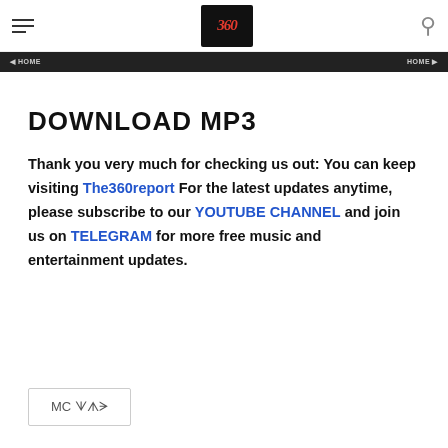DOWNLOAD MP3 | The360report
DOWNLOAD MP3
Thank you very much for checking us out: You can keep visiting The360report For the latest updates anytime, please subscribe to our YOUTUBE CHANNEL and join us on TELEGRAM for more free music and entertainment updates.
MC ᗐᗑᗒ